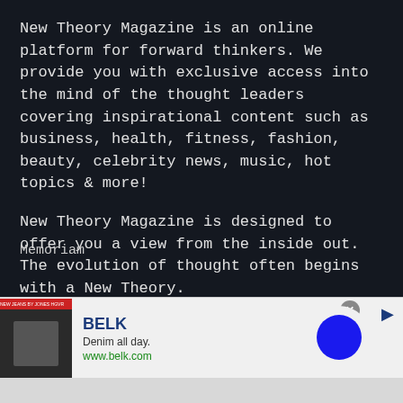New Theory Magazine is an online platform for forward thinkers. We provide you with exclusive access into the mind of the thought leaders covering inspirational content such as business, health, fitness, fashion, beauty, celebrity news, music, hot topics & more!
New Theory Magazine is designed to offer you a view from the inside out. The evolution of thought often begins with a New Theory.
Memoriam
[Figure (screenshot): Advertisement banner for BELK featuring text 'BELK', 'Denim all day.', 'www.belk.com', with a product image on the left and a blue circle graphic on the right. Has a close (x) button.]